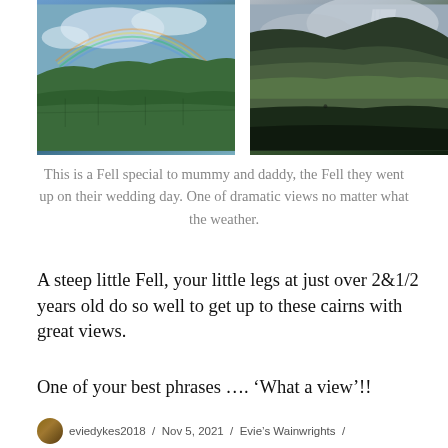[Figure (photo): Landscape aerial view with rainbow over green fields and a lake, dramatic sky with clouds]
[Figure (photo): Dramatic hillside/fell with rain shaft and moody light, green valleys below]
This is a Fell special to mummy and daddy, the Fell they went up on their wedding day. One of dramatic views no matter what the weather.
A steep little Fell, your little legs at just over 2&1/2 years old do so well to get up to these cairns with great views.
One of your best phrases …. ‘What a view’!!
eviedykes2018 / Nov 5, 2021 / Evie’s Wainwrights /